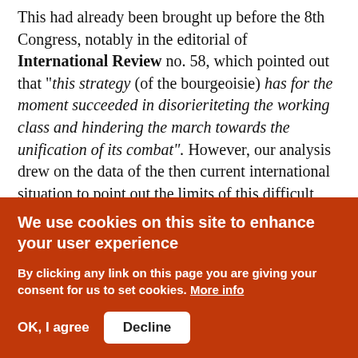This had already been brought up before the 8th Congress, notably in the editorial of International Review no. 58, which pointed out that "this strategy (of the bourgeoisie) has for the moment succeeded in disorieriteting the working class and hindering the march towards the unification of its combat". However, our analysis drew on the data of the then current international situation to point out the limits of this difficult moment. In fact, the difficulties encountered by the workers in 1988 and early 1989 were on the same level (though more serious) as those of 1985 (pointed out during the ICC's 8th...
We use cookies on this site to enhance your user experience
By clicking any link on this page you are giving your consent for us to set cookies. More info
OK, I agree   Decline